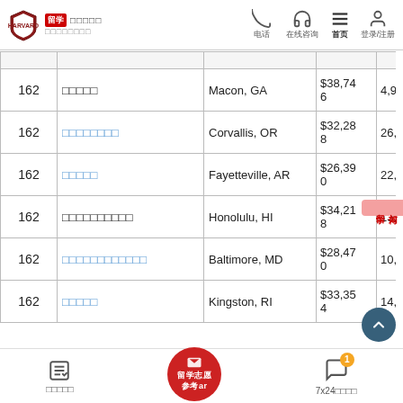留学 Harvard U.S 留学志愿参考 | 电话 | 在线咨询 | 首页 | 登录/注册
| 排名 | 学校名称 | 城市 | 学费 | 在校人数 |
| --- | --- | --- | --- | --- |
| 162 | □□□□□ | Macon, GA | $38,746 | 4,911 |
| 162 | □□□□□□□□ | Corvallis, OR | $32,288 | 26,644 |
| 162 | □□□□□ | Fayetteville, AR | $26,390 | 22,825 |
| 162 | □□□□□□□□□□ | Honolulu, HI | $34,218 | 13,203 |
| 162 | □□□□□□□□□□□□ | Baltimore, MD | $28,470 | 10,932 |
| 162 | □□□□□ | Kingston, RI | $33,354 | 14,073 |
我的志愿 | 留学志愿参考 | 7x24在线咨询